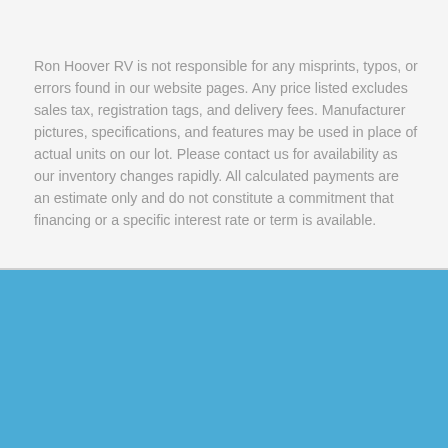Ron Hoover RV is not responsible for any misprints, typos, or errors found in our website pages. Any price listed excludes sales tax, registration tags, and delivery fees. Manufacturer pictures, specifications, and features may be used in place of actual units on our lot. Please contact us for availability as our inventory changes rapidly. All calculated payments are an estimate only and do not constitute a commitment that financing or a specific interest rate or term is available.
[Figure (logo): Ron Hoover RV logo with bold italic dark blue text 'RON HOOVER' on a white rounded card, with water splash graphic below the text, and an accessibility icon (person with arms outstretched in circle) on the right side. The logo card sits on a medium blue background.]